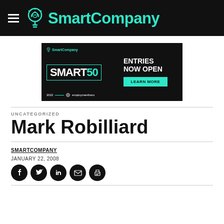SmartCompany
[Figure (screenshot): SmartCompany Smart50 2022 advertisement banner with Employment Hero branding, showing 'ENTRIES NOW OPEN' and 'LEARN MORE' button]
UNCATEGORIZED
Mark Robilliard
SMARTCOMPANY
JANUARY 22, 2008
[Figure (infographic): Social sharing icons: Facebook, Twitter, LinkedIn, Email, Print]